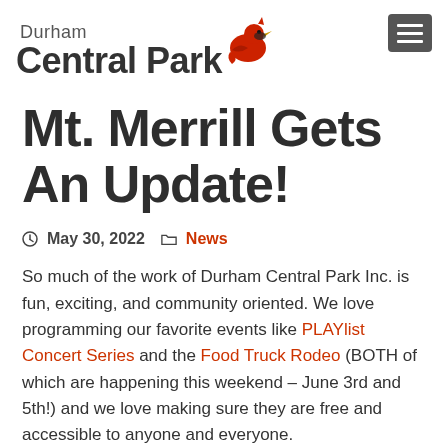Durham Central Park
Mt. Merrill Gets An Update!
May 30, 2022  News
So much of the work of Durham Central Park Inc. is fun, exciting, and community oriented. We love programming our favorite events like PLAYlist Concert Series and the Food Truck Rodeo (BOTH of which are happening this weekend – June 3rd and 5th!) and we love making sure they are free and accessible to anyone and everyone.